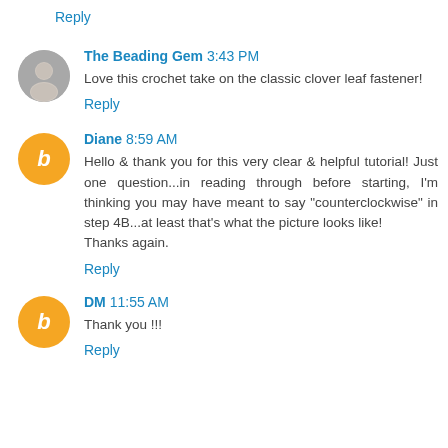Reply
The Beading Gem 3:43 PM
Love this crochet take on the classic clover leaf fastener!
Reply
Diane 8:59 AM
Hello & thank you for this very clear & helpful tutorial! Just one question...in reading through before starting, I'm thinking you may have meant to say "counterclockwise" in step 4B...at least that's what the picture looks like! Thanks again.
Reply
DM 11:55 AM
Thank you !!!
Reply